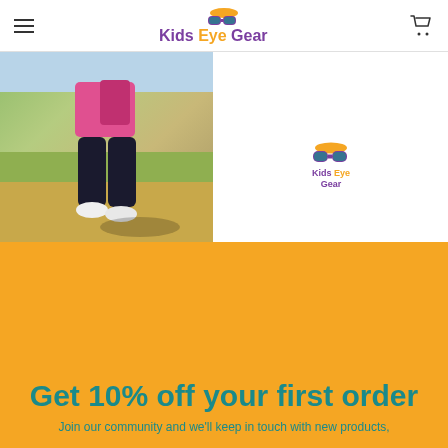Kids Eye Gear
[Figure (photo): Child's legs in black capri pants and pink top with white sneakers, standing on grass/gravel outdoors, casting a shadow]
[Figure (logo): Kids Eye Gear small logo with glasses icon and Kids Eye Gear text]
Get 10% off your first order
Join our community and we'll keep in touch with new products,